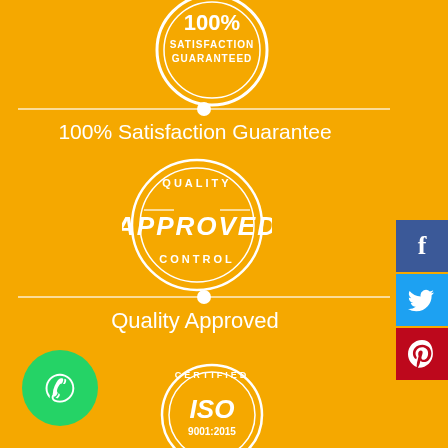[Figure (logo): 100% Satisfaction Guaranteed circular badge/stamp in white on orange background]
100% Satisfaction Guarantee
[Figure (logo): Quality Control Approved circular stamp in white]
Quality Approved
[Figure (logo): WhatsApp green circle logo icon]
[Figure (logo): ISO 9001:2015 Certified Company circular badge]
[Figure (logo): Facebook share button - blue square with white f]
[Figure (logo): Twitter share button - blue square with white bird]
[Figure (logo): Pinterest share button - red square with white p]